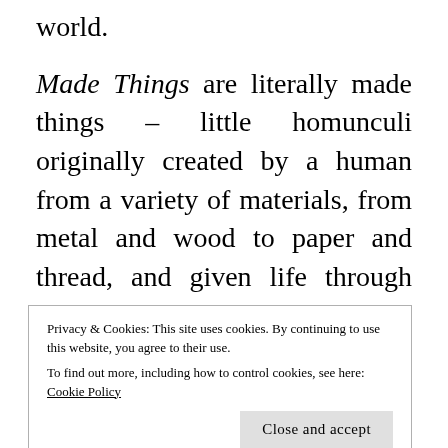world.
Made Things are literally made things – little homunculi originally created by a human from a variety of materials, from metal and wood to paper and thread, and given life through magic. Now, having gained independence from their maker in somewhat traumatic circumstances, they find themselves completely on their own in a not very friendly,
Privacy & Cookies: This site uses cookies. By continuing to use this website, you agree to their use.
To find out more, including how to control cookies, see here: Cookie Policy
Close and accept
centious. They are also drawn to people